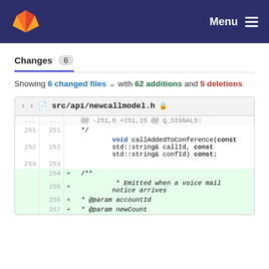GitLab — Menu
Changes 6
Showing 6 changed files with 62 additions and 5 deletions
src/api/newcallmodel.h
| old | new | + | code |
| --- | --- | --- | --- |
| ... | ... |  | @@ -251,6 +251,15 @@ Q_SIGNALS: |
| 251 | 251 |  |     */ |
| 252 | 252 |  |     void callAddedToConference(const std::string& callId, const std::string& confId) const; |
| 253 | 253 |  |  |
|  | 254 | + |     /** |
|  | 255 | + |      * Emitted when a voice mail notice arrives |
|  | 256 | + |      * @param accountId |
|  | 257 | + |      * @param newCount |